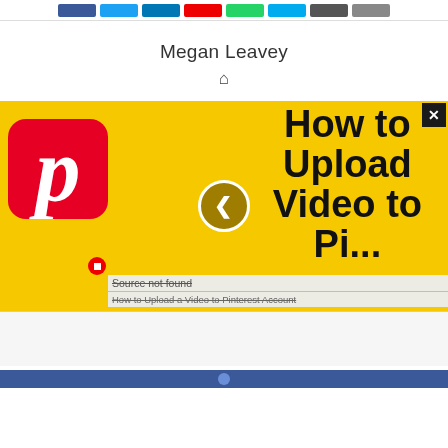Social share buttons row
Megan Leavey
[Figure (screenshot): Video thumbnail with yellow background showing Pinterest logo on left and large bold text 'How to Upload Video to Pi...' on right, with a play button overlay and a close X button. A video error bar shows 'Source not found' and 'How to Upload a Video to Pinterest Account' with strikethrough text.]
[Figure (screenshot): Second video player region with white/light grey background, partially visible, with a blue bar at the bottom.]